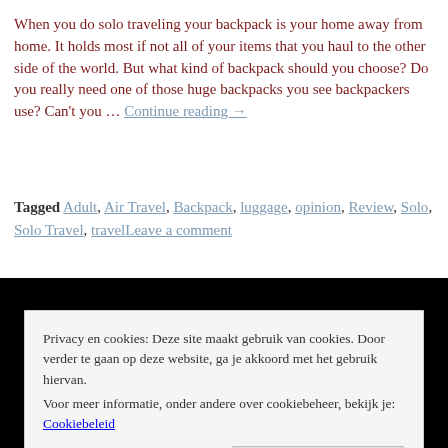When you do solo traveling your backpack is your home away from home. It holds most if not all of your items that you haul to the other side of the world. But what kind of backpack should you choose? Do you really need one of those huge backpacks you see backpackers use? Can't you … Continue reading →
Tagged Adult, Air Travel, Backpack, luggage, opinion, Review, Solo, Solo Travel, travelLeave a comment
[Figure (photo): Black rectangle area representing an image or video embed]
Privacy en cookies: Deze site maakt gebruik van cookies. Door verder te gaan op deze website, ga je akkoord met het gebruik hiervan. Voor meer informatie, onder andere over cookiebeheer, bekijk je: Cookiebeleid
Sluiten en bevestigen